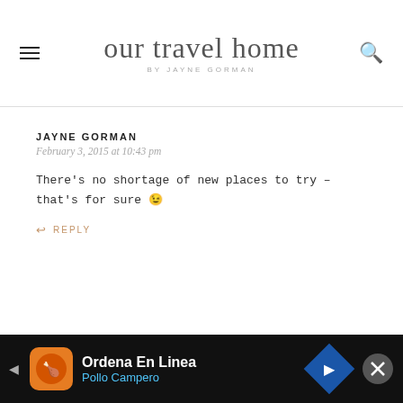our travel home by Jayne Gorman
JAYNE GORMAN
February 3, 2015 at 10:43 pm
There's no shortage of new places to try – that's for sure 😉
↩ REPLY
MAADHI
April 8, 2015 at 11:32 am
Hi Jayne, just stumbled upon your blog when searching for…
[Figure (other): Advertisement banner for Ordena En Linea / Pollo Campero with navigation arrow icon and close button]